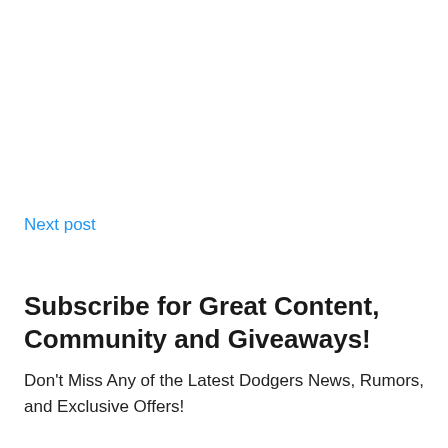Next post
Subscribe for Great Content, Community and Giveaways!
Don't Miss Any of the Latest Dodgers News, Rumors, and Exclusive Offers!